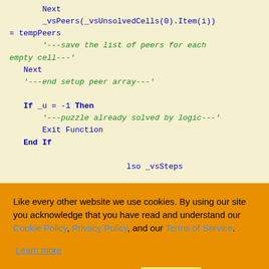Code block showing VBA/Visual Basic code with Next, _vsPeers, tempPeers, comments, If _u = -1 Then, Exit Function, End If, and partial lines showing _vsSteps, filled cell, ll containing, unfilled cell, result in, ay be room, n, next cell to test---'
Cookie consent overlay: Like every other website we use cookies. By using our site you acknowledge that you have read and understand our Cookie Policy, Privacy Policy, and our Terms of Service. Learn more. Buttons: Ask me later, Decline, Allow cookies